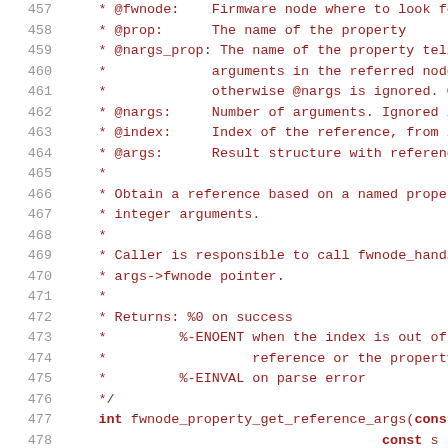Source code listing lines 457-478, C kernel documentation comment and function signature for fwnode_property_get_reference_args
457  * @fwnode:    Firmware node where to look for
458  * @prop:      The name of the property
459  * @nargs_prop: The name of the property tellin
460  *             arguments in the referred node.
461  *             otherwise @nargs is ignored. On
462  * @nargs:     Number of arguments. Ignored if
463  * @index:     Index of the reference, from ze
464  * @args:      Result structure with reference
465  *
466  * Obtain a reference based on a named property
467  * integer arguments.
468  *
469  * Caller is responsible to call fwnode_handle_
470  * args->fwnode pointer.
471  *
472  * Returns: %0 on success
473  *         %-ENOENT when the index is out of b
474  *                   reference or the property
475  *         %-EINVAL on parse error
476  */
477  int fwnode_property_get_reference_args(const st
478                                         const s